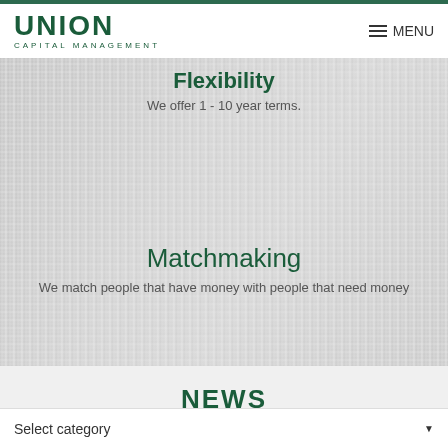UNION CAPITAL MANAGEMENT
Flexibility
We offer 1 - 10 year terms.
[Figure (photo): Close-up textured mesh or woven material background, light grey tones]
Matchmaking
We match people that have money with people that need money
NEWS
Select category